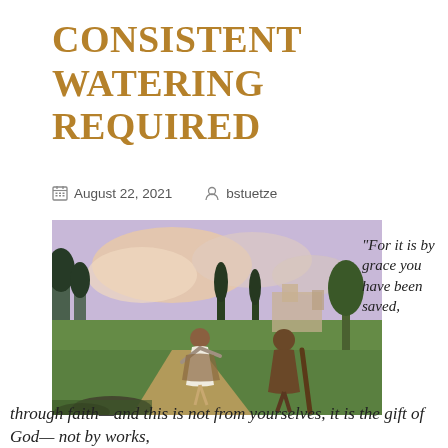Consistent watering required
August 22, 2021   bstuetze
[Figure (illustration): Painting of two biblical figures on a dirt path through green fields; one figure in white robes with arms outstretched, the other in brown robes holding a staff, with trees and buildings in background.]
“For it is by grace you have been saved,
through faith—and this is not from yourselves, it is the gift of God— not by works,